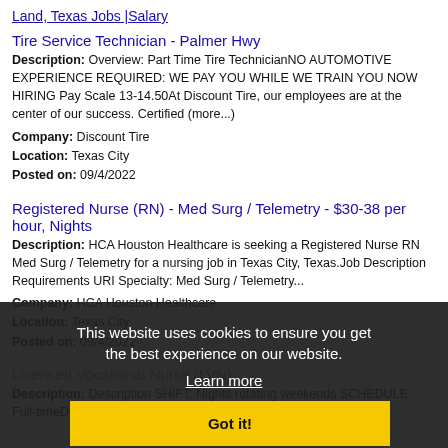Land, Texas Jobs |Salary
Tire Service Technician - Palmer Hwy
Description: Overview: Part Time Tire TechnicianNO AUTOMOTIVE EXPERIENCE REQUIRED: WE PAY YOU WHILE WE TRAIN YOU NOW HIRING Pay Scale 13-14.50At Discount Tire, our employees are at the center of our success. Certified (more...)
Company: Discount Tire
Location: Texas City
Posted on: 09/4/2022
Registered Nurse (RN) - Med Surg / Telemetry - $30-38 per hour, Nights
Description: HCA Houston Healthcare is seeking a Registered Nurse RN Med Surg / Telemetry for a nursing job in Texas City, Texas.Job Description Requirements URI Specialty: Med Surg / Telemetry...
Company: HCA Houston Healthcare
Location: Texas City
Posted on: 09/4/2022
Licensed Vocational Nurse (LVN)
Description: Description SHIFT: Nights rotating weekends SCHEDULE: Full-timeDo you have the career opportunities you
This website uses cookies to ensure you get the best experience on our website.
Learn more
Got it!